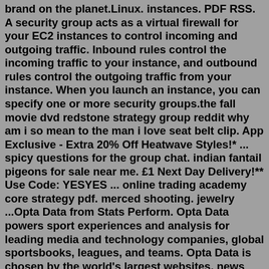brand on the planet.Linux. instances. PDF RSS. A security group acts as a virtual firewall for your EC2 instances to control incoming and outgoing traffic. Inbound rules control the incoming traffic to your instance, and outbound rules control the outgoing traffic from your instance. When you launch an instance, you can specify one or more security groups.the fall movie dvd redstone strategy group reddit why am i so mean to the man i love seat belt clip. App Exclusive - Extra 20% Off Heatwave Styles!* ... spicy questions for the group chat. indian fantail pigeons for sale near me. £1 Next Day Delivery!** Use Code: YESYES ... online trading academy core strategy pdf. merced shooting. jewelry ...Opta Data from Stats Perform. Opta Data powers sport experiences and analysis for leading media and technology companies, global sportsbooks, leagues, and teams. Opta Data is chosen by the world's largest websites, news outlets, betting brands, mobile apps, teams, and more for its superior speed, accuracy, breadth and depth.redstone strategy group reddit.